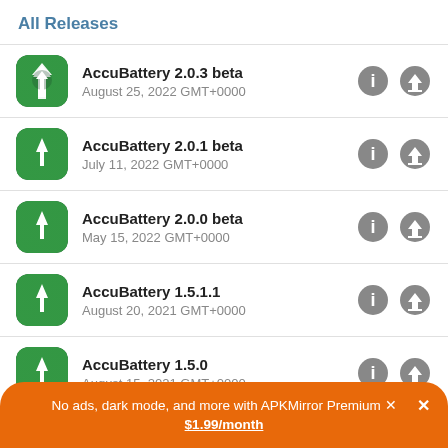All Releases
AccuBattery 2.0.3 beta
August 25, 2022 GMT+0000
AccuBattery 2.0.1 beta
July 11, 2022 GMT+0000
AccuBattery 2.0.0 beta
May 15, 2022 GMT+0000
AccuBattery 1.5.1.1
August 20, 2021 GMT+0000
AccuBattery 1.5.0
August 15, 2021 GMT+0000
No ads, dark mode, and more with APKMirror Premium × $1.99/month